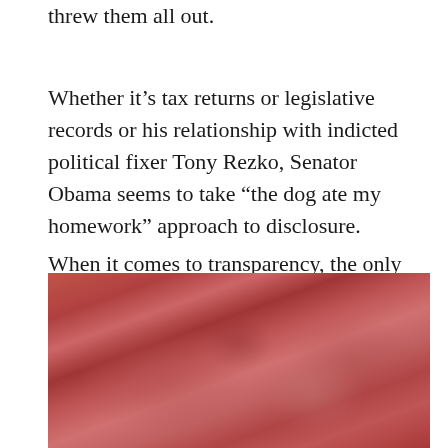threw them all out.
Whether it’s tax returns or legislative records or his relationship with indicted political fixer Tony Rezko, Senator Obama seems to take “the dog ate my homework” approach to disclosure.
When it comes to transparency, the only thing transparent about Senator Obama is his claim to be transparent.
[Figure (photo): A blurry reddish-toned crowd or group photo with dark red and pink hues, partially visible at the bottom of the page.]